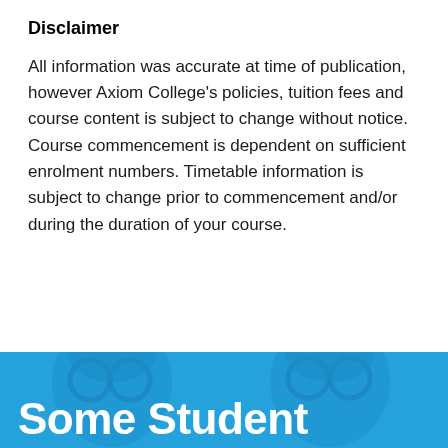Disclaimer
All information was accurate at time of publication, however Axiom College's policies, tuition fees and course content is subject to change without notice. Course commencement is dependent on sufficient enrolment numbers. Timetable information is subject to change prior to commencement and/or during the duration of your course.
[Figure (photo): Blue-tinted photo of students wearing glasses with large bold white text 'Some Student' overlaid at the bottom.]